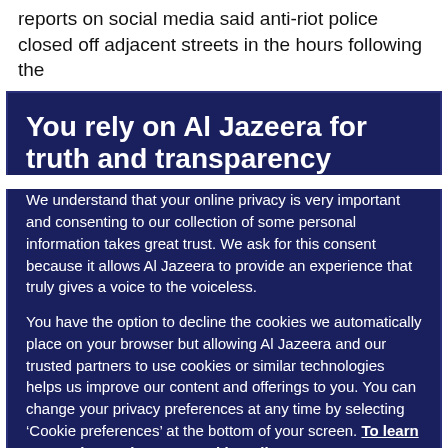reports on social media said anti-riot police closed off adjacent streets in the hours following the
You rely on Al Jazeera for truth and transparency
We understand that your online privacy is very important and consenting to our collection of some personal information takes great trust. We ask for this consent because it allows Al Jazeera to provide an experience that truly gives a voice to the voiceless.
You have the option to decline the cookies we automatically place on your browser but allowing Al Jazeera and our trusted partners to use cookies or similar technologies helps us improve our content and offerings to you. You can change your privacy preferences at any time by selecting ‘Cookie preferences’ at the bottom of your screen. To learn more, please view our Cookie Policy.